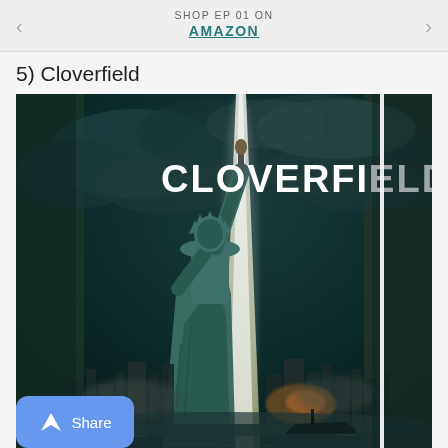SHOP EP 01 ON AMAZON
5) Cloverfield
[Figure (photo): Cloverfield movie poster showing the Statue of Liberty decapitated against a dark stormy sky with a bright light beam, cityscape in background. The word CLOVERFIELD appears in bold white letters at the top. A share button with shark fin icon appears in the bottom-left corner.]